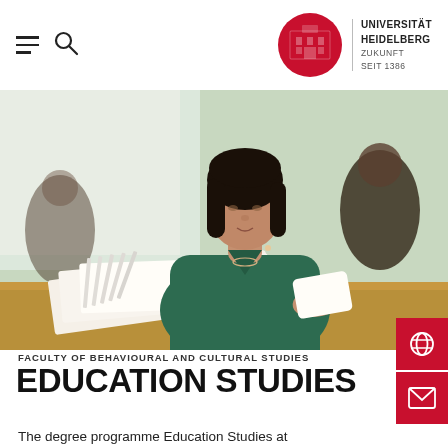Universität Heidelberg – Zukunft Seit 1386
[Figure (photo): A young woman in a green top reading/flipping through a book or papers in a classroom setting. Other students are visible in the background.]
FACULTY OF BEHAVIOURAL AND CULTURAL STUDIES
EDUCATION STUDIES
The degree programme Education Studies at